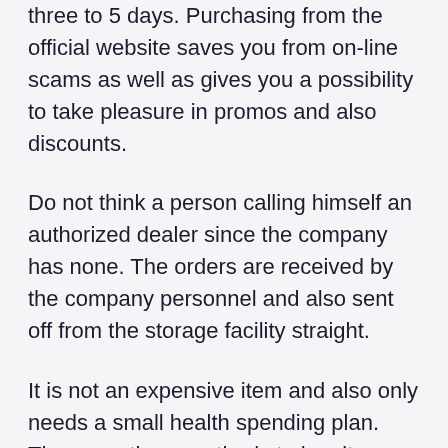three to 5 days. Purchasing from the official website saves you from on-line scams as well as gives you a possibility to take pleasure in promos and also discounts.
Do not think a person calling himself an authorized dealer since the company has none. The orders are received by the company personnel and also sent off from the storage facility straight.
It is not an expensive item and also only needs a small health spending plan. There are three methods to buy it; you can get one, 3, or six packs of containers. Buying the package packs conserves more money as well as offers you extra bottles for a minimal price.